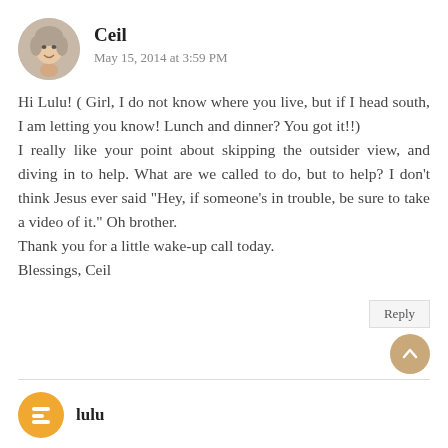Ceil
May 15, 2014 at 3:59 PM
Hi Lulu! ( Girl, I do not know where you live, but if I head south, I am letting you know! Lunch and dinner? You got it!!)
I really like your point about skipping the outsider view, and diving in to help. What are we called to do, but to help? I don’t think Jesus ever said “Hey, if someone’s in trouble, be sure to take a video of it.” Oh brother.
Thank you for a little wake-up call today.
Blessings, Ceil
Reply
lulu